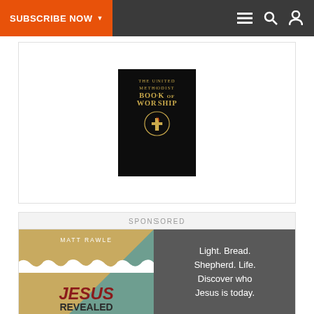SUBSCRIBE NOW
[Figure (photo): The United Methodist Book of Worship book cover - dark hardcover with gold text and cross/flame logo]
SPONSORED
[Figure (illustration): Advertisement for 'Jesus Revealed' by Matt Rawle. Left half shows book cover with gold/tan geometric background, author name 'MATT RAWLE', and title 'JESUS REVEALED'. Right half on dark gray background reads: 'Light. Bread. Shepherd. Life. Discover who Jesus is today.']